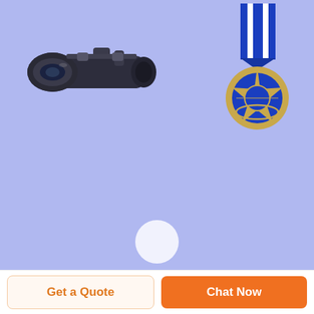[Figure (photo): Rifle scope (optic) photographed against a light blue-purple background, positioned in the upper-left area of the page.]
[Figure (photo): Military or police medal with blue ribbon and gold star/wreath badge, positioned in the upper-right area of the page.]
Wyzenbeek Abrasion Tester - Textile Testing Instruments ...
Wyzenbeek Abrasion Tester, to determine the abrasion resistance of fabrics when rubbed against a standard abradent or a wire mesh screen with a backward and forward motion over a curved surface. Wyzenbeek Machine
Get a Quote
Chat Now